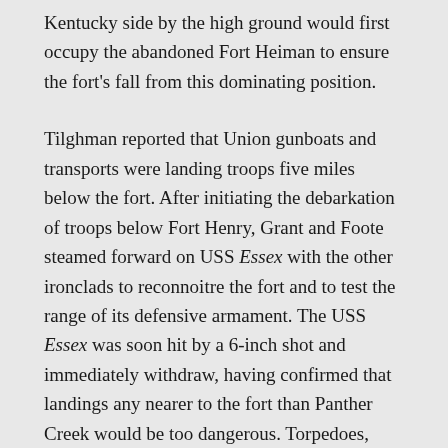Kentucky side by the high ground would first occupy the abandoned Fort Heiman to ensure the fort's fall from this dominating position.

Tilghman reported that Union gunboats and transports were landing troops five miles below the fort. After initiating the debarkation of troops below Fort Henry, Grant and Foote steamed forward on USS Essex with the other ironclads to reconnoitre the fort and to test the range of its defensive armament. The USS Essex was soon hit by a 6-inch shot and immediately withdraw, having confirmed that landings any nearer to the fort than Panther Creek would be too dangerous. Torpedoes, planted in the river but torn loose by the flooding waters,